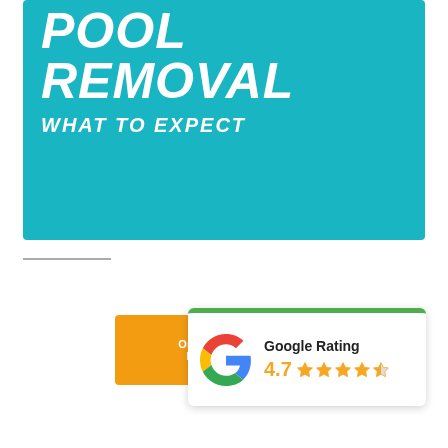[Figure (illustration): Teal/cyan banner with large white italic bold uppercase text reading 'REMOVAL' and 'WHAT TO EXPECT' on a teal background]
[Figure (infographic): Google Rating widget showing 4.7 stars out of 5, with Google 'G' logo, overlapping an orange 'Order My Removal' button]